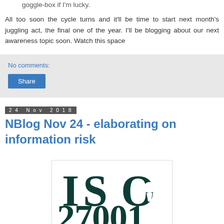goggle-box if I'm lucky.
All too soon the cycle turns and it'll be time to start next month's juggling act, the final one of the year. I'll be blogging about our next awareness topic soon. Watch this space
No comments:
Share
24 Nov 2018
NBlog Nov 24 - elaborating on information risk
[Figure (illustration): ISO 27001 logo/graphic showing large bold text 'ISO' and '27001' with a keyhole incorporated into the letter 'O' of ISO, in dark teal color.]